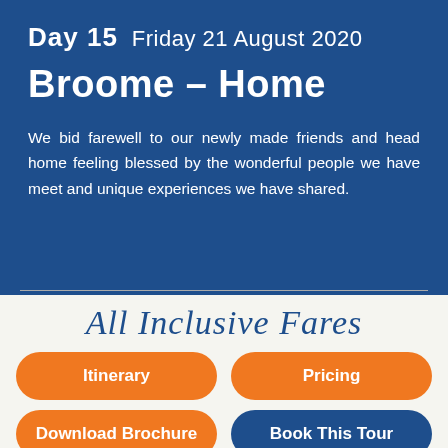Day 15   Friday 21 August 2020
Broome – Home
We bid farewell to our newly made friends and head home feeling blessed by the wonderful people we have meet and unique experiences we have shared.
All Inclusive Fares
Itinerary
Pricing
Download Brochure
Book This Tour